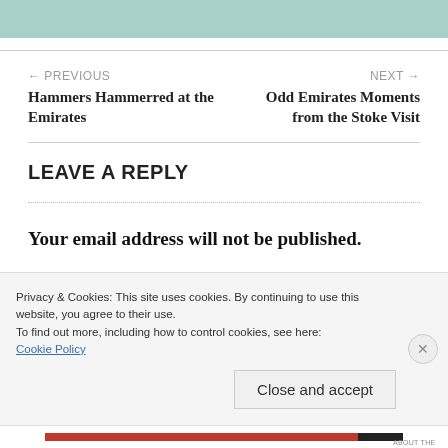[Figure (other): Teal/mint colored banner at top of page with white text (partially visible)]
← PREVIOUS
Hammers Hammerred at the Emirates
NEXT →
Odd Emirates Moments from the Stoke Visit
LEAVE A REPLY
Your email address will not be published.
Privacy & Cookies: This site uses cookies. By continuing to use this website, you agree to their use.
To find out more, including how to control cookies, see here: Cookie Policy
Close and accept